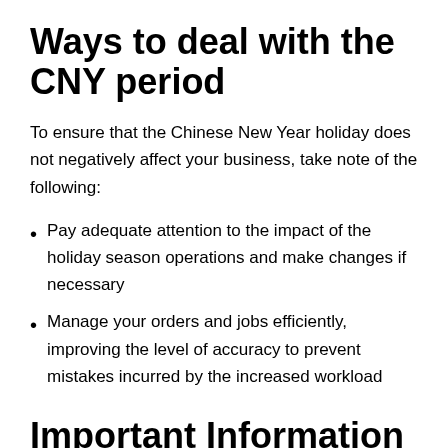Ways to deal with the CNY period
To ensure that the Chinese New Year holiday does not negatively affect your business, take note of the following:
Pay adequate attention to the impact of the holiday season operations and make changes if necessary
Manage your orders and jobs efficiently, improving the level of accuracy to prevent mistakes incurred by the increased workload
Important Information